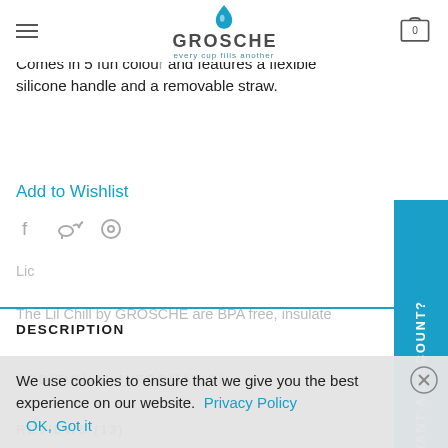GROSCHE — every cup fills another
to be kid-approved every where. The 12 fl. oz is the fect size for your child's everyday activities! Comes in 5 fun colour and features a flexible silicone handle and a removable straw.
Add to Wishlist
[Figure (other): Social share icons: Facebook, Twitter, Pinterest]
DESCRIPTION
ADDITIONAL INFORMATION
REVIEWS (13)
[Figure (other): Side tab button with text WANT A DISCOUNT?]
We use cookies to ensure that we give you the best experience on our website. Privacy Policy   OK, Got it
The Lil Chill by GROSCHE are BPA free, insulated...